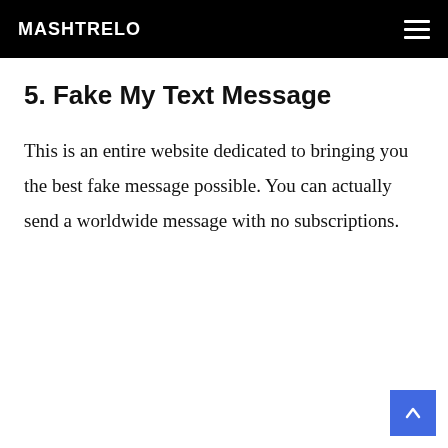MASHTRELO
5. Fake My Text Message
This is an entire website dedicated to bringing you the best fake message possible. You can actually send a worldwide message with no subscriptions.